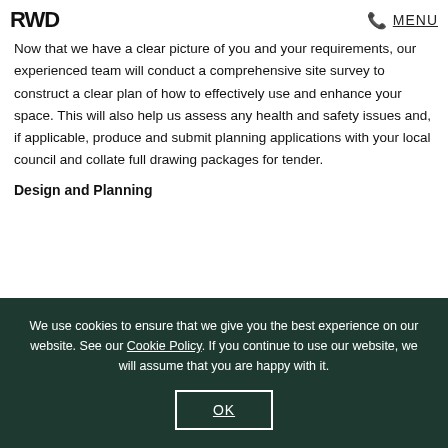RWD  MENU
Now that we have a clear picture of you and your requirements, our experienced team will conduct a comprehensive site survey to construct a clear plan of how to effectively use and enhance your space. This will also help us assess any health and safety issues and, if applicable, produce and submit planning applications with your local council and collate full drawing packages for tender.
Design and Planning
We use cookies to ensure that we give you the best experience on our website. See our Cookie Policy. If you continue to use our website, we will assume that you are happy with it.

OK